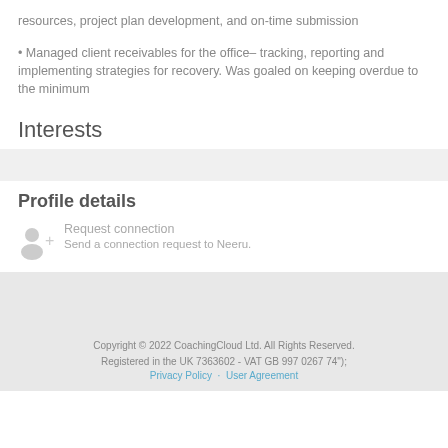resources, project plan development, and on-time submission
• Managed client receivables for the office– tracking, reporting and implementing strategies for recovery. Was goaled on keeping overdue to the minimum
Interests
Profile details
Request connection
Send a connection request to Neeru.
Copyright © 2022 CoachingCloud Ltd. All Rights Reserved.
Registered in the UK 7363602 - VAT GB 997 0267 74");
Privacy Policy · User Agreement